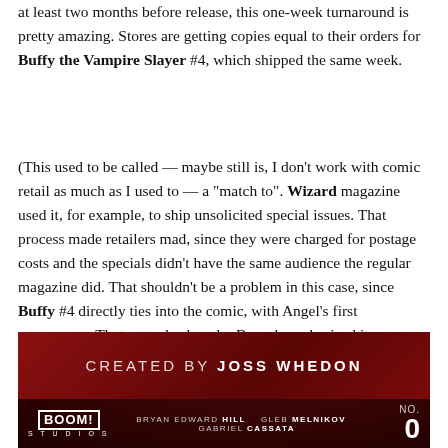at least two months before release, this one-week turnaround is pretty amazing. Stores are getting copies equal to their orders for Buffy the Vampire Slayer #4, which shipped the same week.
(This used to be called — maybe still is, I don't work with comic retail as much as I used to — a "match to". Wizard magazine used it, for example, to ship unsolicited special issues. That process made retailers mad, since they were charged for postage costs and the specials didn't have the same audience the regular magazine did. That shouldn't be a problem in this case, since Buffy #4 directly ties into the comic, with Angel's first appearance. That may also be why Boom! emphasized it as a benefit to retailers, see below.)
[Figure (other): Comic book cover header banner: dark red background with text 'CREATED BY JOSS WHEDON', Boom! Studios logo, credits for Bryan Edward Hill, Gleb Melnikov, Gabriel Cassata, and issue number 0]